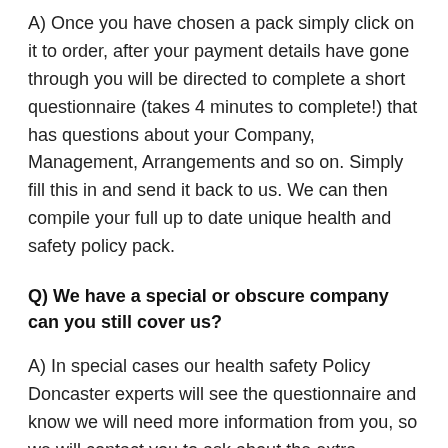A) Once you have chosen a pack simply click on it to order, after your payment details have gone through you will be directed to complete a short questionnaire (takes 4 minutes to complete!) that has questions about your Company, Management, Arrangements and so on. Simply fill this in and send it back to us. We can then compile your full up to date unique health and safety policy pack.
Q) We have a special or obscure company can you still cover us?
A) In special cases our health safety Policy Doncaster experts will see the questionnaire and know we will need more information from you, so we will contact you to ask about the extra required details of your company before writing your policy.